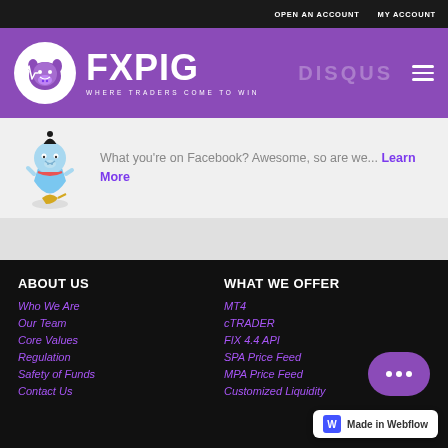OPEN AN ACCOUNT   MY ACCOUNT
[Figure (logo): FXPIG logo with pig mascot in white circle on purple background. Text: FXPIG WHERE TRADERS COME TO WIN]
What you're on Facebook? Awesome, so are we... Learn More
ABOUT US
Who We Are
Our Team
Core Values
Regulation
Safety of Funds
Contact Us
WHAT WE OFFER
MT4
cTRADER
FIX 4.4 API
SPA Price Feed
MPA Price Feed
Customized Liquidity